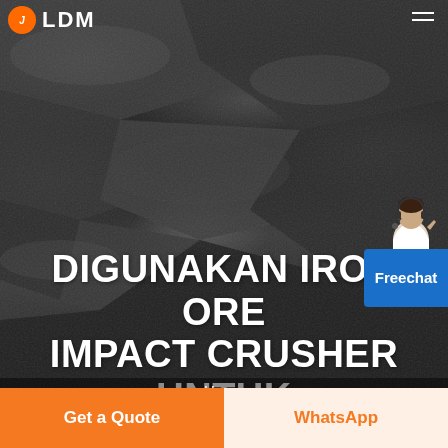[Figure (screenshot): Website header screenshot for LDM mining equipment company showing a hero image of iron ore/coal aggregate with navigation bar, logo, and free chat widget overlay]
DIGUNAKAN IRON ORE IMPACT CRUSHER UNTUK HIRE NIGERIA
Home
- Digunakan Iron Ore Impact Crusher Untuk Hire
Get a Quote
WhatsApp